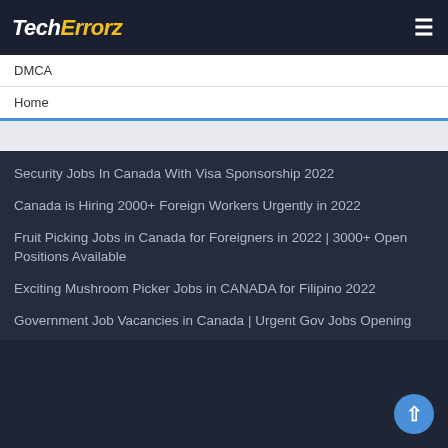TechErrorz
DMCA
Home
Security Jobs In Canada With Visa Sponsorship 2022
Canada is Hiring 2000+ Foreign Workers Urgently in 2022
Fruit Picking Jobs in Canada for Foreigners in 2022 | 3000+ Open Positions Available
Exciting Mushroom Picker Jobs in CANADA for Filipino 2022
Government Job Vacancies in Canada | Urgent Gov Jobs Opening